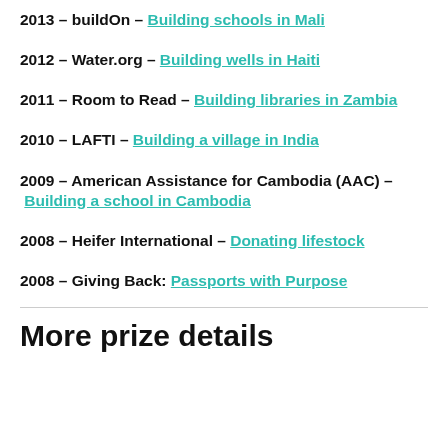2013 – buildOn – Building schools in Mali
2012 – Water.org – Building wells in Haiti
2011 – Room to Read – Building libraries in Zambia
2010 – LAFTI – Building a village in India
2009 – American Assistance for Cambodia (AAC) – Building a school in Cambodia
2008 – Heifer International – Donating lifestock
2008 – Giving Back: Passports with Purpose
More prize details